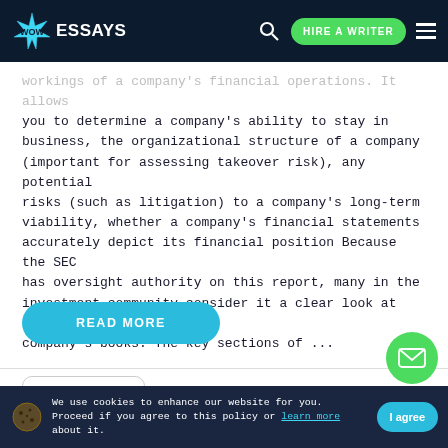WOW ESSAYS | HIRE A WRITER
workings of a company's financial operations. It allows you to determine a company's ability to stay in business, the organizational structure of a company (important for assessing takeover risk), any potential risks (such as litigation) to a company's long-term viability, whether a company's financial statements accurately depict its financial position Because the SEC has oversight authority on this report, many in the investment community consider it a clear look at the company's books. The key sections of ...
READ MORE
3 Pages
We use cookies to enhance our website for you. Proceed if you agree to this policy or learn more about it. | I agree